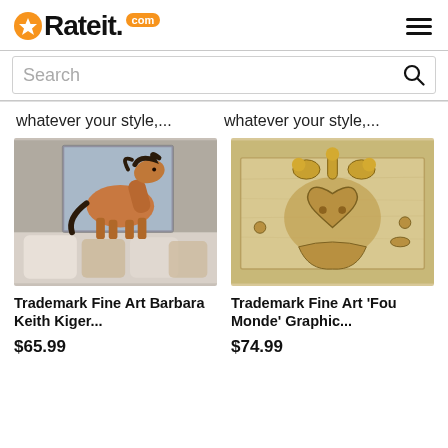Rateit.com
Search
whatever your style,...
whatever your style,...
[Figure (photo): Painting of a brown horse on a gray background, displayed on a white room wall above pillows]
Trademark Fine Art Barbara Keith Kiger...
$65.99
[Figure (photo): Vintage sepia-toned illustration of a jester figure with a heart-shaped face and bell hat]
Trademark Fine Art 'Fou Monde' Graphic...
$74.99